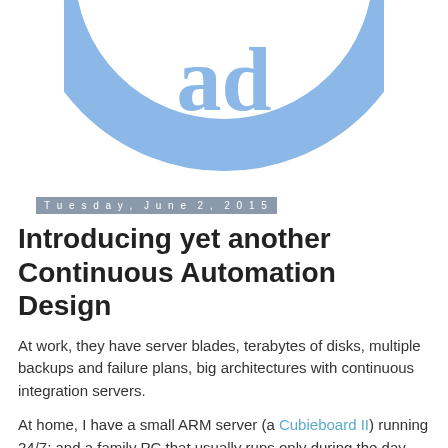[Figure (logo): Partial circular logo with blue ring and 'ad' text in light blue on white background, cropped at top]
Tuesday, June 2, 2015
Introducing yet another Continuous Automation Design
At work, they have server blades, terabytes of disks, multiple backups and failure plans, big architectures with continuous integration servers.
At home, I have a small ARM server (a Cubieboard II) running 24/7; and a family PC that usually runs only during the day.
Despite of the smallness of my home computing resources, I would like to work on my personal projects with a proper continuous automation system.